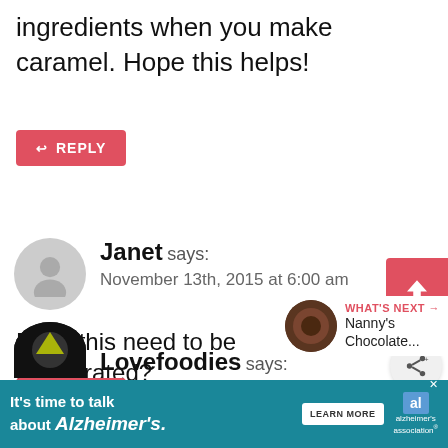ingredients when you make caramel. Hope this helps!
REPLY
Janet says: November 13th, 2015 at 6:00 am
Does this need to be refrigerated?
REPLY
WHAT'S NEXT → Nanny's Chocolate...
Lovefoodies says:
It's time to talk about Alzheimer's. LEARN MORE